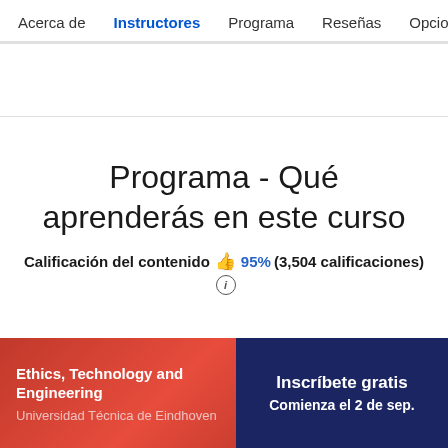Acerca de  Instructores  Programa  Reseñas  Opcione
Programa - Qué aprenderás en este curso
Calificación del contenido 👍 95% (3,504 calificaciones) ⓘ
Ethics, Technology and Engineering
Universidad Técnica de Eindhoven
Inscríbete gratis
Comienza el 2 de sep.